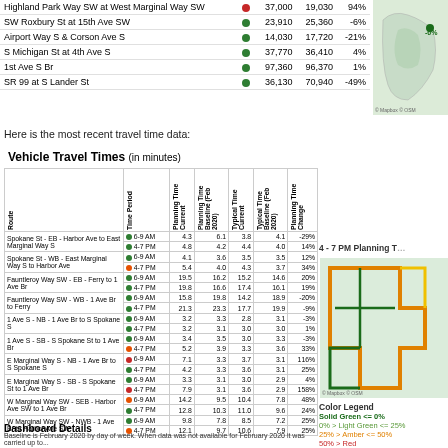| Route |  | Current | Baseline | Change |
| --- | --- | --- | --- | --- |
| Highland Park Way SW at West Marginal Way SW | red | 37,000 | 19,030 | 94% |
| SW Roxbury St at 15th Ave SW | green | 23,910 | 25,360 | -6% |
| Airport Way S & Corson Ave S | green | 14,030 | 17,720 | -21% |
| S Michigan St at 4th Ave S | green | 37,770 | 36,410 | 4% |
| 1st Ave S Br | green | 97,360 | 96,370 | 1% |
| SR 99 at S Lander St | green | 36,130 | 70,940 | -49% |
Here is the most recent travel time data:
| Route | Time Period | Planning Time Current | Planning Time Baseline (Feb 2020) | Typical Time Current | Typical Time Baseline (Feb 2020) | Planning Time Change |
| --- | --- | --- | --- | --- | --- | --- |
| Spokane St - EB - Harbor Ave to East Marginal Way S | 6-9 AM | 4.3 | 6.1 | 3.8 | 4.1 | -29% |
|  | 4-7 PM | 4.8 | 4.2 | 4.4 | 4.0 | 14% |
| Spokane St - WB - East Marginal Way S to Harbor Ave | 6-9 AM | 4.1 | 3.6 | 3.5 | 3.5 | 12% |
|  | 4-7 PM | 5.4 | 4.0 | 4.3 | 3.7 | 34% |
| Fauntleroy Way SW - EB - Ferry to 1 Ave Br | 6-9 AM | 19.5 | 16.2 | 15.2 | 14.6 | 20% |
|  | 4-7 PM | 19.8 | 16.6 | 17.4 | 16.1 | 19% |
| Fauntleroy Way SW - WB - 1 Ave Br to Ferry | 6-9 AM | 15.8 | 19.8 | 14.2 | 18.9 | -20% |
|  | 4-7 PM | 21.3 | 23.3 | 17.7 | 19.9 | -9% |
| 1 Ave S - NB - 1 Ave Br to S Spokane S | 6-9 AM | 3.2 | 3.3 | 2.8 | 3.1 | -3% |
|  | 4-7 PM | 3.2 | 3.1 | 3.0 | 3.0 | 1% |
| 1 Ave S - SB - S Spokane St to 1 Ave Br | 6-9 AM | 3.4 | 3.5 | 3.0 | 3.3 | -3% |
|  | 4-7 PM | 5.2 | 3.9 | 3.3 | 3.6 | 33% |
| E Marginal Way S - NB - 1 Ave Br to S Spokane S | 6-9 AM | 7.1 | 3.3 | 3.7 | 3.1 | 116% |
|  | 4-7 PM | 4.2 | 3.3 | 3.6 | 3.1 | 25% |
| E Marginal Way S - SB - S Spokane St to 1 Ave Br | 6-9 AM | 3.3 | 3.1 | 3.0 | 2.9 | 4% |
|  | 4-7 PM | 7.9 | 3.1 | 3.6 | 2.9 | 158% |
| W Marginal Way SW - SEB - Harbor Ave SW to 1 Ave Br | 6-9 AM | 14.2 | 9.5 | 10.4 | 7.8 | 48% |
|  | 4-7 PM | 12.8 | 10.3 | 11.0 | 9.6 | 24% |
| W Marginal Way SW - NWB - 1 Ave Br to Harbor Ave SW | 6-9 AM | 9.8 | 7.8 | 8.5 | 7.2 | 25% |
|  | 4-7 PM | 12.1 | 9.7 | 10.6 | 7.9 | 25% |
[Figure (map): Map showing route with -6% label, top right corner]
[Figure (map): 4-7 PM Planning Time map showing routes in green, orange, yellow colors]
Color Legend
Solid Green <= 0%
0% > Light Green <= 25%
25% > Amber <= 50%
50% > Red
Dashboard Details
Baseline is February 2020 by day of week. When data was not available for February 2020 it was carried up to...